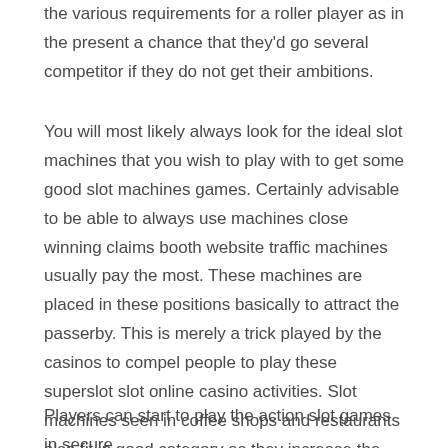the various requirements for a roller player as in the present a chance that they'd go several competitor if they do not get their ambitions.
You will most likely always look for the ideal slot machines that you wish to play with to get some good slot machines games. Certainly advisable to be able to always use machines close winning claims booth website traffic machines usually pay the most. These machines are placed in these positions basically to attract the passerby. This is merely a trick played by the casinos to compel people to play these superslot slot online casino activities. Slot machines seen in coffee shops and restaurants also fit in good category as they increase the chances of you winning. Usually, such places are filled with huge crowds and this equipment is designed to perform well. So after finishing their meal a associated with people would try their hands on these online flash games.
Players can start to play the action slot games in secure